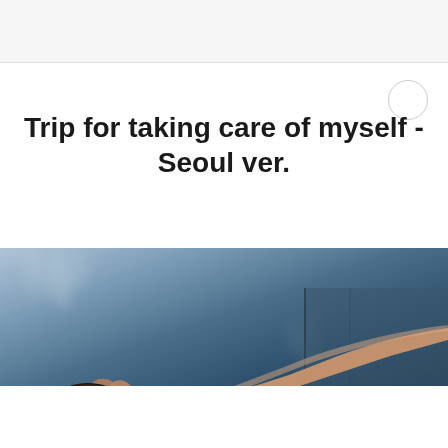Trip for taking care of myself - Seoul ver.
[Figure (photo): A hand holding a dark stone bowl (hot sauna bowl) pouring steaming water, against a dark blue-grey misty spa/bathhouse background with steam wisps rising]